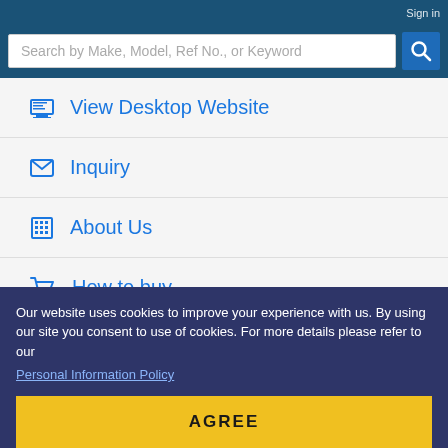Sign in
Search by Make, Model, Ref No., or Keyword
View Desktop Website
Inquiry
About Us
How to buy
Bank Details
Our website uses cookies to improve your experience with us. By using our site you consent to use of cookies. For more details please refer to our
Personal Information Policy
AGREE